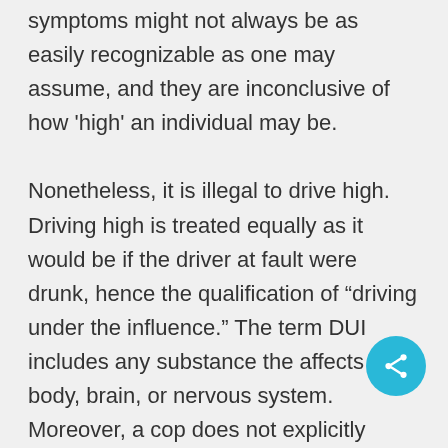symptoms might not always be as easily recognizable as one may assume, and they are inconclusive of how 'high' an individual may be. Nonetheless, it is illegal to drive high. Driving high is treated equally as it would be if the driver at fault were drunk, hence the qualification of "driving under the influence." The term DUI includes any substance the affects the body, brain, or nervous system. Moreover, a cop does not explicitly need a marijuana equivalent of a Breathalyzer to determine how high a driver is. They simply need enough evidence to convince 9 of 12 jurors of the case, which is called preponderance of the evidence. Driving while high is taken very seriously in a